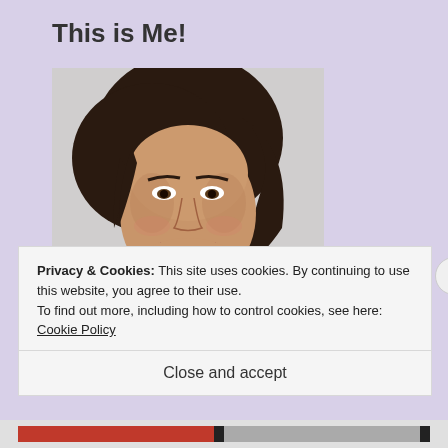This is Me!
[Figure (photo): Portrait photo of a smiling woman with dark shoulder-length hair, wearing a black top, against a light background.]
Privacy & Cookies: This site uses cookies. By continuing to use this website, you agree to their use.
To find out more, including how to control cookies, see here: Cookie Policy
Close and accept